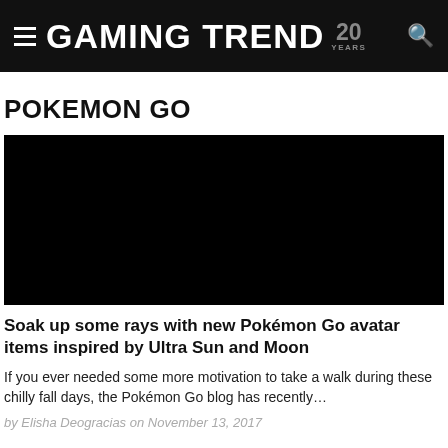GAMING TREND 20 YEARS
POKEMON GO
[Figure (photo): Black thumbnail image for the article about Pokémon Go avatar items]
Soak up some rays with new Pokémon Go avatar items inspired by Ultra Sun and Moon
If you ever needed some more motivation to take a walk during these chilly fall days, the Pokémon Go blog has recently…
by Elisha Deogracias on November 13, 2017